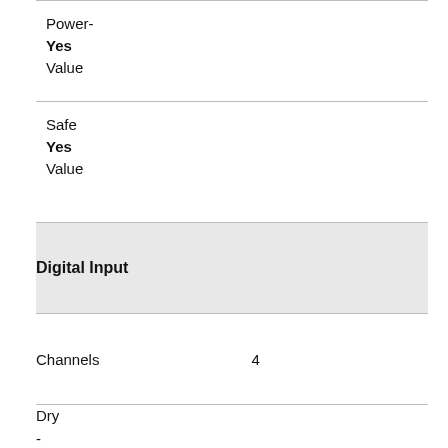| Power-
Yes
Value |  |
| Safe
Yes
Value |  |
| Digital Input |  |
| Channels | 4 |
| Dry
-
Contact

Type |  |